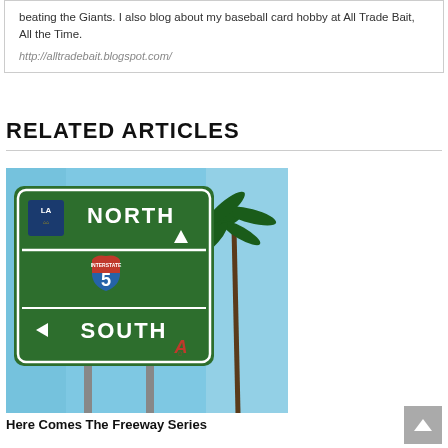beating the Giants. I also blog about my baseball card hobby at All Trade Bait, All the Time.
http://alltradebait.blogspot.com/
RELATED ARTICLES
[Figure (photo): Photo of an Interstate 5 highway sign with LA Dodgers logo pointing North and Angels logo pointing South, with a palm tree in the background against a blue sky.]
Here Comes The Freeway Series